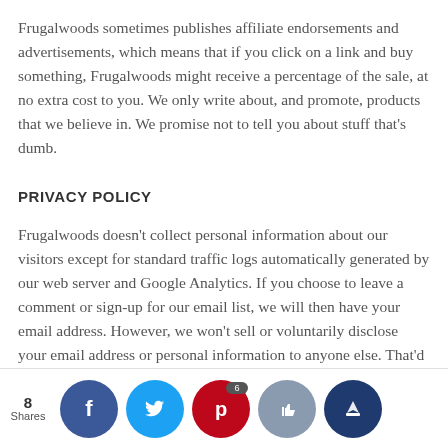Frugalwoods sometimes publishes affiliate endorsements and advertisements, which means that if you click on a link and buy something, Frugalwoods might receive a percentage of the sale, at no extra cost to you. We only write about, and promote, products that we believe in. We promise not to tell you about stuff that's dumb.
PRIVACY POLICY
Frugalwoods doesn't collect personal information about our visitors except for standard traffic logs automatically generated by our web server and Google Analytics. If you choose to leave a comment or sign-up for our email list, we will then have your email address. However, we won't sell or voluntarily disclose your email address or personal information to anyone else. That'd be rude!
8 Shares — social sharing buttons: Facebook, Twitter, Pinterest (6), Like, Crown